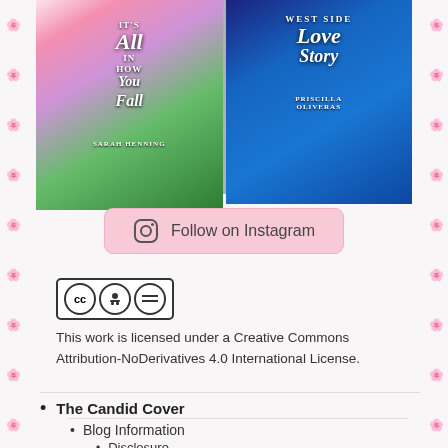[Figure (photo): Two book covers on a flat lay background with pink roses: 'It's All in How You Fall' by Sarah Henning (left, pink/green cover with gymnast) and 'West Side Love Story' by Priscilla Oliveras (right, blue cover with couple embracing)]
[Figure (infographic): Pink rounded rectangle button with Instagram camera icon and text 'Follow on Instagram']
[Figure (logo): Creative Commons Attribution-NoDerivatives license badge with CC, BY, and ND icons]
This work is licensed under a Creative Commons Attribution-NoDerivatives 4.0 International License.
The Candid Cover
Blog Information
Disclosure